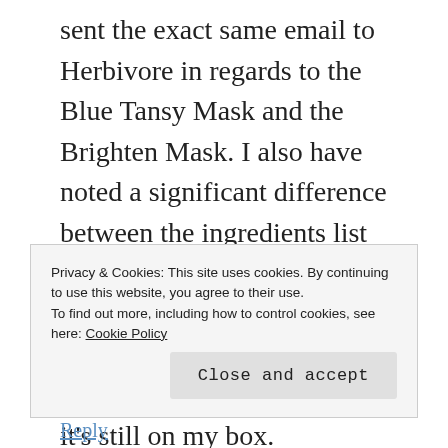sent the exact same email to Herbivore in regards to the Blue Tansy Mask and the Brighten Mask. I also have noted a significant difference between the ingredients list on the website and on the boxes of my two masks. The website doesn't list phenoxyethanol anymore but it's still on my box. Moreover it also lists tetrasodium and two artificial dyes (in the Blue Tansy one). I have inquired about those, it seems very weird for an all natural brand. Plus, the "active" ingredients are on the bottom on the ingredients list in both these masks, it worries me quite a bit. I'm waiting for their answer in order to
Privacy & Cookies: This site uses cookies. By continuing to use this website, you agree to their use.
To find out more, including how to control cookies, see here: Cookie Policy
Close and accept
Reply